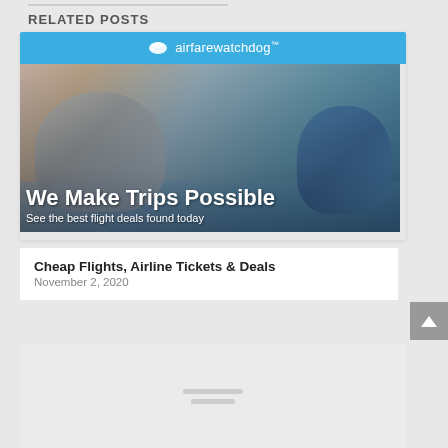RELATED POSTS
[Figure (photo): Airfarewatchdog advertisement showing an elderly man and a child playing in water, with text 'We Make Trips Possible' and 'See the best flight deals found today']
Cheap Flights, Airline Tickets & Deals
November 2, 2020
[Figure (photo): Second related post thumbnail, appears as a grey placeholder image]